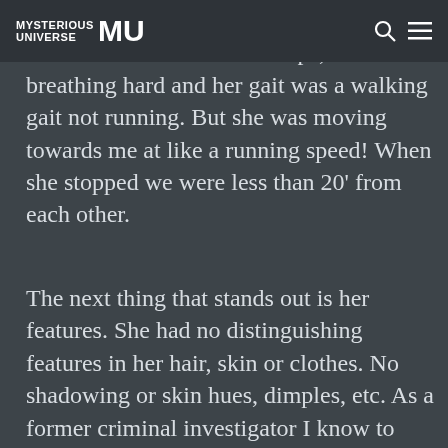Mysterious Universe
moving she would have had to be running hard but I didn't hear footsteps, she wasn't breathing hard and her gait was a walking gait not running. But she was moving towards me at like a running speed! When she stopped we were less than 20' from each other.
The next thing that stands out is her features. She had no distinguishing features in her hair, skin or clothes. No shadowing or skin hues, dimples, etc. As a former criminal investigator I know to look for distinctive markings. There were none. Even her clothes were a uniform